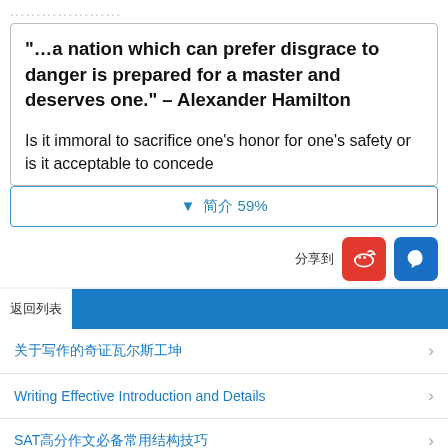.....................
“…a nation which can prefer disgrace to danger is prepared for a master and deserves one.” – Alexander Hamilton

Is it immoral to sacrifice one’s honor for one’s safety or is it acceptable to concede
▼     59%
分享到
返回列表
关于写作的奇证瓦尔斯工坤
Writing Effective Introduction and Details
SAT高分作文必备常用结构技巧